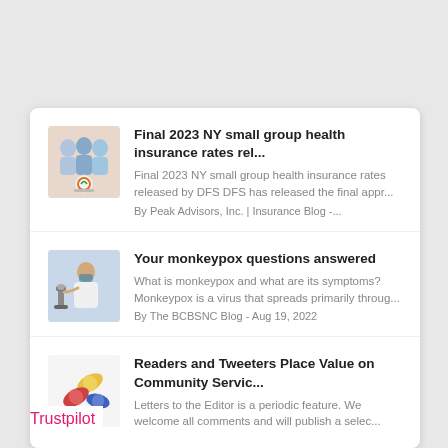Final 2023 NY small group health insurance rates rel...
Final 2023 NY small group health insurance rates released by DFS DFS has released the final appr...
By Peak Advisors, Inc. | Insurance Blog -...
Your monkeypox questions answered
What is monkeypox and what are its symptoms? Monkeypox is a virus that spreads primarily throug...
By The BCBSNC Blog - Aug 19, 2022
Readers and Tweeters Place Value on Community Servic...
Letters to the Editor is a periodic feature. We welcome all comments and will publish a selec...
Trustpilot